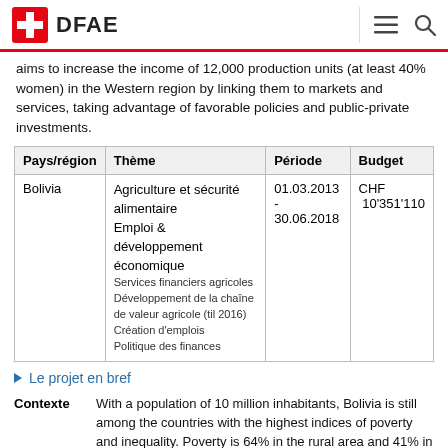DFAE
aims to increase the income of 12,000 production units (at least 40% women) in the Western region by linking them to markets and services, taking advantage of favorable policies and public-private investments.
| Pays/région | Thème | Période | Budget |
| --- | --- | --- | --- |
| Bolivia | Agriculture et sécurité alimentaire
Emploi & développement économique
Services financiers agricoles
Développement de la chaîne de valeur agricole (til 2016)
Création d'emplois
Politique des finances | 01.03.2013 - 30.06.2018 | CHF 10'351'110 |
Le projet en bref
Contexte
With a population of 10 million inhabitants, Bolivia is still among the countries with the highest indices of poverty and inequality. Poverty is 64% in the rural area and 41% in urban areas. Because of the trend toward...